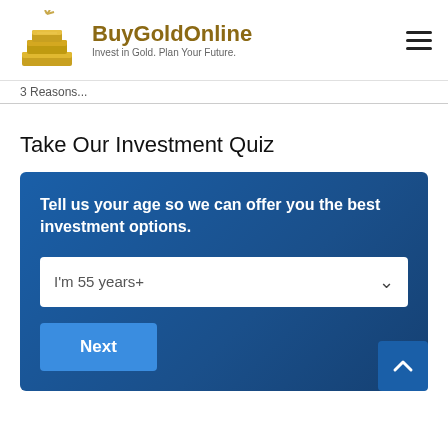[Figure (logo): BuyGoldOnline logo with gold bars icon and tagline 'Invest in Gold. Plan Your Future.']
3 Reasons
Take Our Investment Quiz
Tell us your age so we can offer you the best investment options.
I'm 55 years+
Next